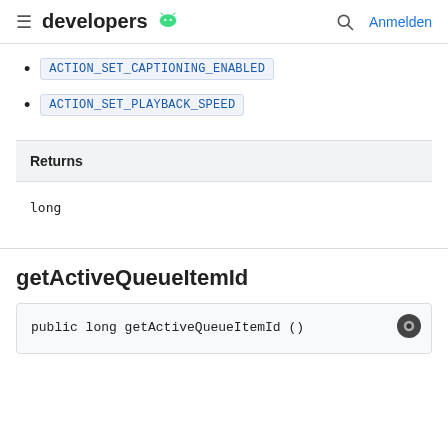developers [android icon] | search | Anmelden
ACTION_SET_CAPTIONING_ENABLED
ACTION_SET_PLAYBACK_SPEED
| Returns |
| --- |
| long |
getActiveQueueItemId
public long getActiveQueueItemId ()